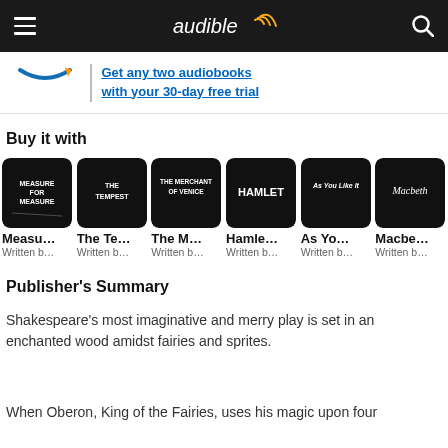[Figure (screenshot): Audible website header with hamburger menu, Audible logo, and search icon on dark background]
[Figure (screenshot): Amazon Prime banner offering two free audiobooks with 30-day free trial]
Buy it with
[Figure (infographic): Carousel of 6 Shakespeare audiobook covers: Measure for Measure, The Tempest, The Merchant of Venice, Hamlet, As You Like It, Macbeth. Each shows truncated title and 'Written b...' text below.]
Publisher's Summary
Shakespeare's most imaginative and merry play is set in an enchanted wood amidst fairies and sprites.
When Oberon, King of the Fairies, uses his magic upon four